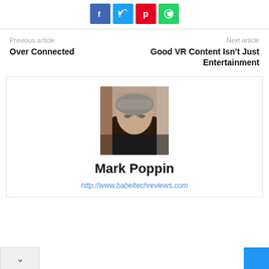[Figure (other): Row of four social media share buttons: Facebook (blue), Twitter (cyan), Pinterest (red), WhatsApp (green)]
Previous article
Over Connected
Next article
Good VR Content Isn't Just Entertainment
[Figure (photo): Portrait photo of Mark Poppin, an older man with gray hair and glasses wearing a black shirt]
Mark Poppin
http://www.babeltechreviews.com